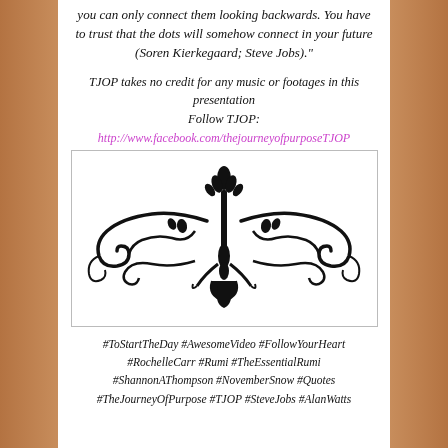you can only connect them looking backwards. You have to trust that the dots will somehow connect in your future (Soren Kierkegaard; Steve Jobs)."
TJOP takes no credit for any music or footages in this presentation
Follow TJOP:
http://www.facebook.com/thejourneyofpurposeTJOP
[Figure (illustration): Decorative black ornamental flourish/divider with scrollwork and floral motifs, symmetrical, centered in a bordered rectangle]
#ToStartTheDay  #AwesomeVideo #FollowYourHeart #RochelleCarr #Rumi #TheEssentialRumi #ShannonAThompson #NovemberSnow #Quotes #TheJourneyOfPurpose #TJOP #SteveJobs #AlanWatts